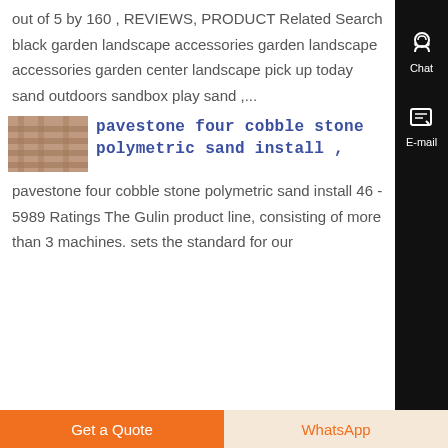out of 5 by 160 , REVIEWS, PRODUCT Related Search black garden landscape accessories garden landscape accessories garden center landscape pick up today sand outdoors sandbox play sand ,...
[Figure (photo): Thumbnail photo of cobblestone pavement installation]
pavestone four cobble stone polymetric sand install ,
pavestone four cobble stone polymetric sand install 46 - 5989 Ratings The Gulin product line, consisting of more than 3 machines. sets the standard for our